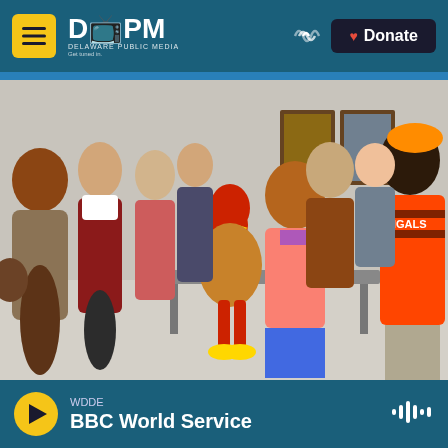DPM Delaware Public Media — Get tuned in. | Donate
[Figure (photo): Group of people indoors at a community event. A child dressed in a turkey costume (red head, brown body, yellow feet) stands in the center. Adults of various ages surround the child, including a man wearing a Bengals jersey on the right holding a microphone. Photographs hang on the wall in the background.]
Megan Pauly / Delaware Public Media
WDDE — BBC World Service